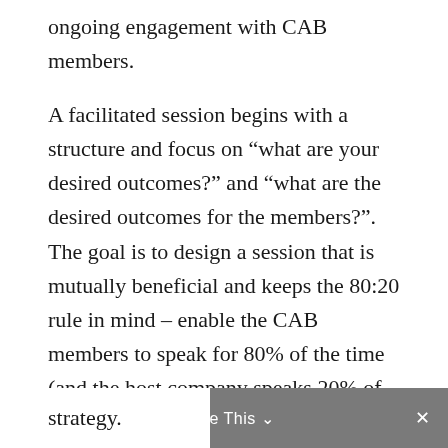ongoing engagement with CAB members.
A facilitated session begins with a structure and focus on “what are your desired outcomes?” and “what are the desired outcomes for the members?”. The goal is to design a session that is mutually beneficial and keeps the 80:20 rule in mind – enable the CAB members to speak for 80% of the time (and the host company speaks 20% of the time). It’s okay to flip the 80:20 rule in some types of sessions like educational sessions, e.g. the host company is presenting a product strategy.
strategy.   Share This   ×